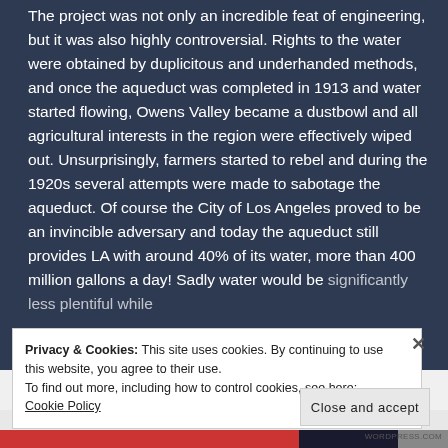The project was not only an incredible feat of engineering, but it was also highly controversial. Rights to the water were obtained by duplicitous and underhanded methods, and once the aqueduct was completed in 1913 and water started flowing, Owens Valley became a dustbowl and all agricultural interests in the region were effectively wiped out. Unsurprisingly, farmers started to rebel and during the 1920s several attempts were made to sabotage the aqueduct. Of course the City of Los Angeles proved to be an invincible adversary and today the aqueduct still provides LA with around 40% of its water, more than 400 million gallons a day! Sadly water would be significantly less plentiful while...
Privacy & Cookies: This site uses cookies. By continuing to use this website, you agree to their use.
To find out more, including how to control cookies, see here: Cookie Policy
Close and accept